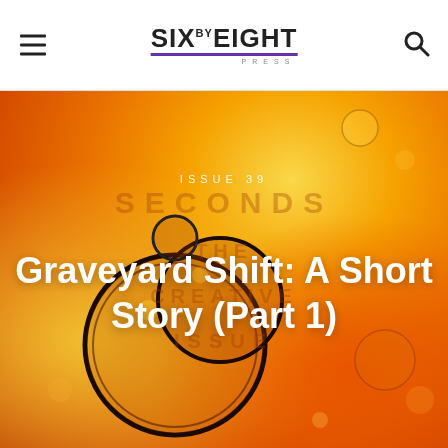Six by Eight Press
[Figure (photo): Orange macro bubble photography background with circular bubble shapes on orange/amber liquid surface]
ISSUE 39
Graveyard Shift: A Short Story (Part 1)